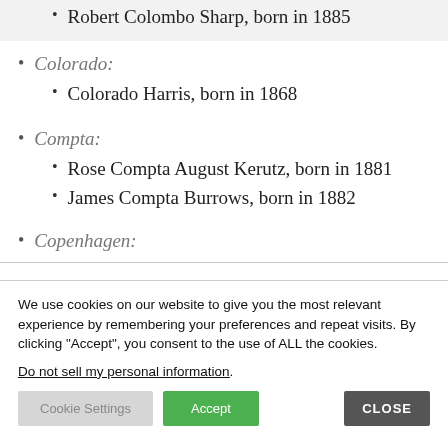Robert Colombo Sharp, born in 1885
Colorado:
Colorado Harris, born in 1868
Compta:
Rose Compta August Kerutz, born in 1881
James Compta Burrows, born in 1882
Copenhagen:
We use cookies on our website to give you the most relevant experience by remembering your preferences and repeat visits. By clicking “Accept”, you consent to the use of ALL the cookies.
Do not sell my personal information.